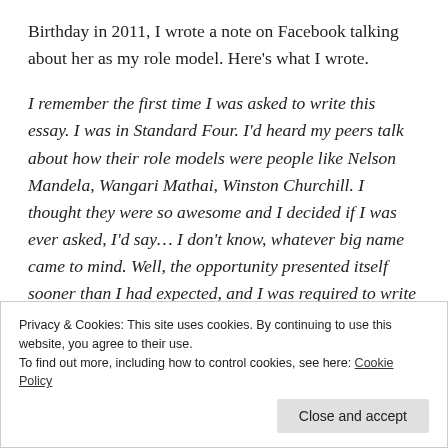Birthday in 2011, I wrote a note on Facebook talking about her as my role model. Here’s what I wrote.
I remember the first time I was asked to write this essay. I was in Standard Four. I’d heard my peers talk about how their role models were people like Nelson Mandela, Wangari Mathai, Winston Churchill. I thought they were so awesome and I decided if I was ever asked, I’d say… I don’t know, whatever big name came to mind. Well, the opportunity presented itself sooner than I had expected, and I was required to write a full essay (not just blurt
Privacy & Cookies: This site uses cookies. By continuing to use this website, you agree to their use.
To find out more, including how to control cookies, see here: Cookie Policy